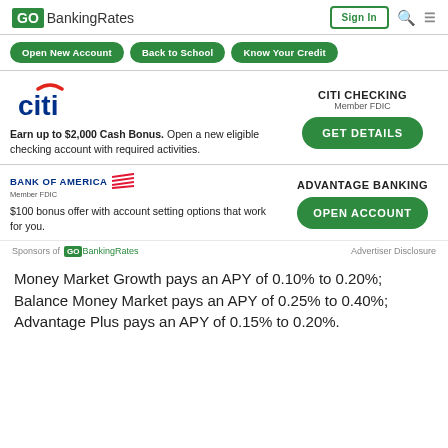GoBankingRates | Sign In
[Figure (logo): GoBankingRates logo with green GO box]
[Figure (infographic): Navigation buttons: Open New Account, Back to School, Know Your Credit]
[Figure (infographic): Citi Checking ad with Citi logo. CITI CHECKING Member FDIC. Earn up to $2,000 Cash Bonus. Open a new eligible checking account with required activities. GET DETAILS button.]
[Figure (infographic): Bank of America Advantage Banking ad. $100 bonus offer with account setting options that work for you. OPEN ACCOUNT button.]
Sponsors of GoBankingRates   Advertiser Disclosure
Money Market Growth pays an APY of 0.10% to 0.20%; Balance Money Market pays an APY of 0.25% to 0.40%; Advantage Plus pays an APY of 0.15% to 0.20%.